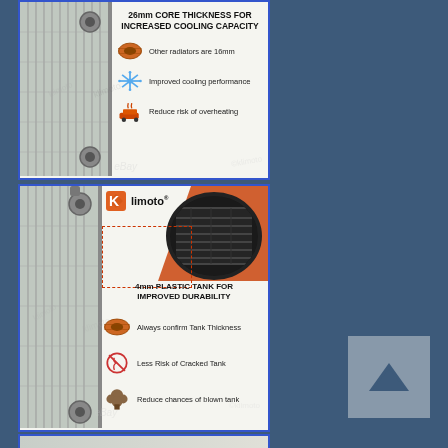[Figure (photo): Klimoto radiator product infographic showing 26mm core thickness for increased cooling capacity. Left side shows radiator fins, right side shows icons and text: 'Other radiators are 16mm', 'Improved cooling performance', 'Reduce risk of overheating'. Watermarks: klimoto and eBay.]
[Figure (photo): Klimoto radiator product infographic showing 4mm plastic tank for improved durability. Left side shows radiator, top right shows close-up circle of ribbed plastic tank with orange background. Three bullet points: 'Always confirm Tank Thickness', 'Less Risk of Cracked Tank', 'Reduce chances of blown tank'. Watermarks: klimoto and eBay.]
[Figure (photo): Partial view of third Klimoto radiator product panel at bottom of page.]